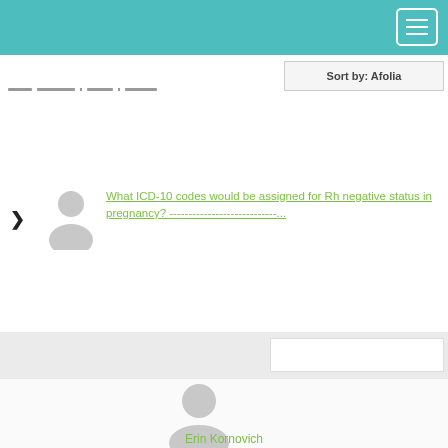Sort by: Afolia
What ICD-10 codes would be assigned for Rh negative status in pregnancy? ------------------------------...
[Figure (illustration): Small generic user avatar placeholder (gray silhouette)]
[Figure (illustration): Larger generic user avatar placeholder (gray silhouette)]
Erin Kornovich